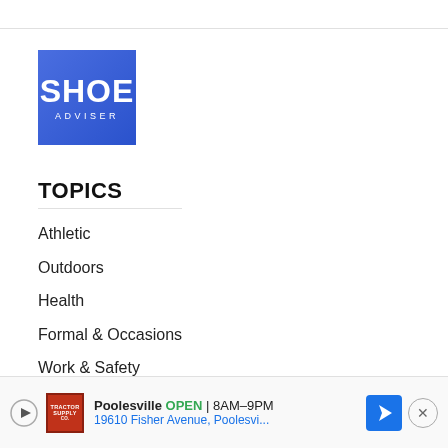[Figure (logo): Shoe Adviser logo — blue square with white bold text SHOE and ADVISER below in spaced caps]
TOPICS
Athletic
Outdoors
Health
Formal & Occasions
Work & Safety
Kids
Socks
Accessories
[Figure (infographic): Advertisement banner: Poolesville OPEN 8AM–9PM, 19610 Fisher Avenue, Poolesvi... with Tractor Supply logo and navigation arrow]